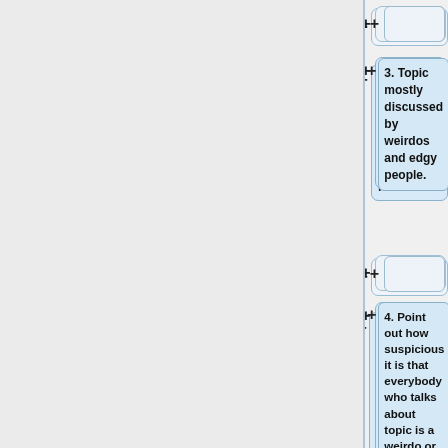[Figure (flowchart): A vertical flowchart with alternating empty connector boxes and labeled content boxes. Items include: empty box, '3. Topic mostly discussed by weirdos and edgy people.', empty box, '4. Point out how suspicious it is that everybody who talks about topic is a weirdo or edgy."', empty box, '@KirkegaardEmail}}', empty box, and a partial empty box at the bottom. Each box has a '+' symbol to its left.]